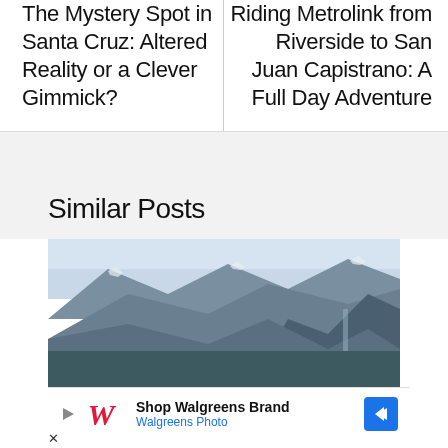The Mystery Spot in Santa Cruz: Altered Reality or a Clever Gimmick?
Riding Metrolink from Riverside to San Juan Capistrano: A Full Day Adventure
Similar Posts
[Figure (photo): Aerial mountain landscape view showing rocky peaks and forested slopes, likely Yosemite National Park]
[Figure (other): Advertisement banner: Shop Walgreens Brand - Walgreens Photo, with Walgreens logo and navigation arrow icon]